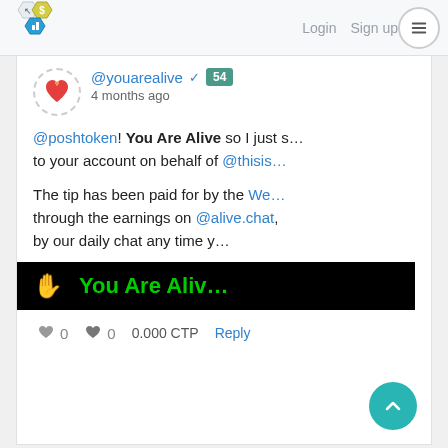Login  Sign up
@youarealive ✓ 54
4 months ago
@poshtoken! You Are Alive so I just s... to your account on behalf of @this...

The tip has been paid for by the We... through the earnings on @alive.chat, by our daily chat any time y...
[Figure (infographic): Black banner with yellow hand emoji and green text 'You Are Aliv...']
♥ 0   ♥ 0   0.000 CTP   Reply